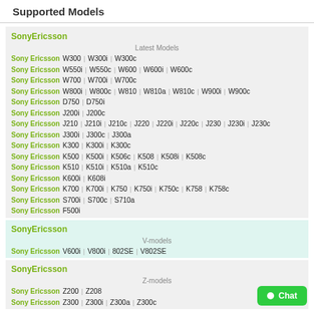Supported Models
SonyEricsson
Latest Models
Sony Ericsson W300 | W300i | W300c
Sony Ericsson W550i | W550c | W600 | W600i | W600c
Sony Ericsson W700 | W700i | W700c
Sony Ericsson W800i | W800c | W810 | W810a | W810c | W900i | W900c
Sony Ericsson D750 | D750i
Sony Ericsson J200i | J200c
Sony Ericsson J210 | J210i | J210c | J220 | J220i | J220c | J230 | J230i | J230c
Sony Ericsson J300i | J300c | J300a
Sony Ericsson K300 | K300i | K300c
Sony Ericsson K500 | K500i | K506c | K508 | K508i | K508c
Sony Ericsson K510 | K510i | K510a | K510c
Sony Ericsson K600i | K608i
Sony Ericsson K700 | K700i | K750 | K750i | K750c | K758 | K758c
Sony Ericsson S700i | S700c | S710a
Sony Ericsson F500i
SonyEricsson
V-models
Sony Ericsson V600i | V800i | 802SE | V802SE
SonyEricsson
Z-models
Sony Ericsson Z200 | Z208
Sony Ericsson Z300 | Z300i | Z300a | Z300c